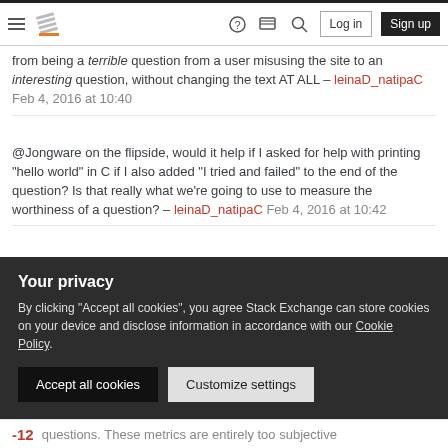Stack Exchange navigation bar with hamburger menu, logo, help icon, chat icon, search icon, Log in button, Sign up button
from being a terrible question from a user misusing the site to an interesting question, without changing the text AT ALL – leinaD_natipaC Feb 4, 2016 at 10:40
@Jongware on the flipside, would it help if I asked for help with printing "hello world" in C if I also added "I tried and failed" to the end of the question? Is that really what we're going to use to measure the worthiness of a question? – leinaD_natipaC Feb 4, 2016 at 10:42
2 @leinaD_natipaC Asking that question is in and of itself evidence of insufficient research, and just saying you did research is useless fluff and lowers the posts quality, if that is at all possible. – Doduplicator Feb 8
Your privacy
By clicking "Accept all cookies", you agree Stack Exchange can store cookies on your device and disclose information in accordance with our Cookie Policy.
Accept all cookies  Customize settings
-12  questions. These metrics are entirely too subjective